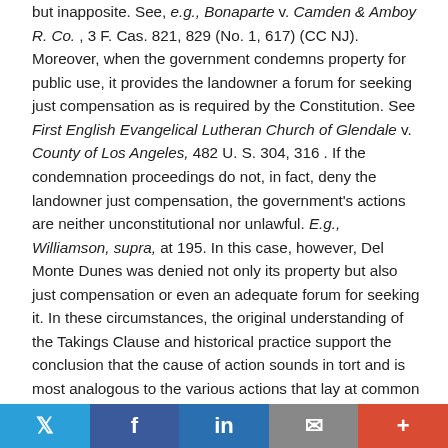but inapposite. See, e.g., Bonaparte v. Camden & Amboy R. Co., 3 F. Cas. 821, 829 (No. 1, 617) (CC NJ). Moreover, when the government condemns property for public use, it provides the landowner a forum for seeking just compensation as is required by the Constitution. See First English Evangelical Lutheran Church of Glendale v. County of Los Angeles, 482 U. S. 304, 316 . If the condemnation proceedings do not, in fact, deny the landowner just compensation, the government's actions are neither unconstitutional nor unlawful. E.g., Williamson, supra, at 195. In this case, however, Del Monte Dunes was denied not only its property but also just compensation or even an adequate forum for seeking it. In these circumstances, the original understanding of the Takings Clause and historical practice support the conclusion that the cause of action sounds in tort and is most analogous to the various actions that lay at common law to recover damages for interference
[Figure (other): Social media sharing bar with Twitter, Facebook, LinkedIn, Email, and More buttons]